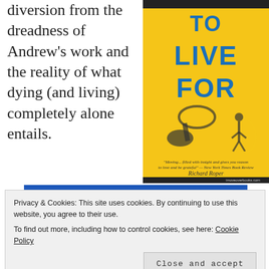diversion from the dreadness of Andrew's work and the reality of what dying (and living) completely alone entails.
[Figure (illustration): Book cover of 'Something to Live For' by Richard Roper, yellow background with teal text, gramophone and walking figure silhouette.]
[Figure (screenshot): Partial view of a blue banner/image below the main content.]
Privacy & Cookies: This site uses cookies. By continuing to use this website, you agree to their use. To find out more, including how to control cookies, see here: Cookie Policy
Close and accept